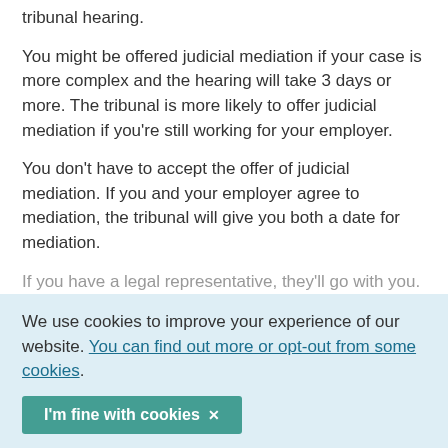tribunal hearing.
You might be offered judicial mediation if your case is more complex and the hearing will take 3 days or more. The tribunal is more likely to offer judicial mediation if you’re still working for your employer.
You don’t have to accept the offer of judicial mediation. If you and your employer agree to mediation, the tribunal will give you both a date for mediation.
If you have a legal representative, they’ll go with you. If you don’t have a representative, you can be...
We use cookies to improve your experience of our website. You can find out more or opt-out from some cookies.
I’m fine with cookies ×